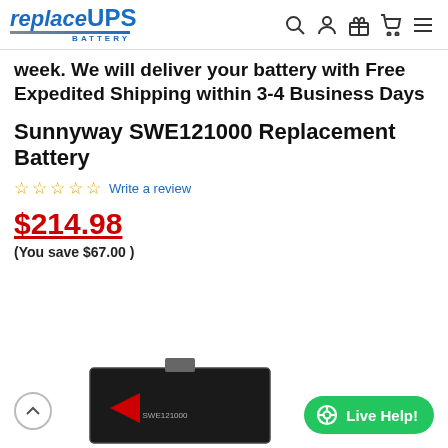replaceUPS Battery
week. We will deliver your battery with Free Expedited Shipping within 3-4 Business Days
Sunnyway SWE121000 Replacement Battery
☆☆☆☆☆ Write a review
$214.98
(You save $67.00 )
[Figure (photo): Black replacement battery with red arrow sticker on front terminal area]